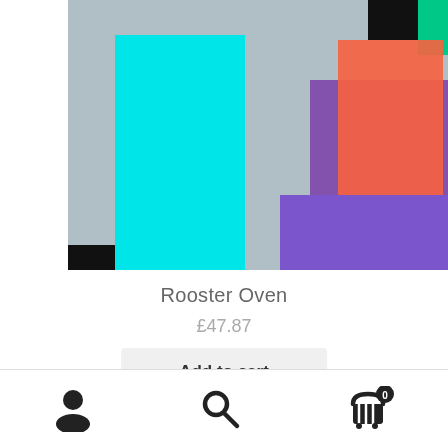[Figure (illustration): Abstract colorful artwork product image showing geometric colored rectangles on a gray background. Colors include cyan, orange, purple, black, green, and magenta.]
Rooster Oven
£47.87
Add to cart
[Figure (infographic): Bottom navigation bar with three icons: user/account icon on the left, search (magnifying glass) icon in the center, and shopping cart icon with badge showing '0' on the right.]